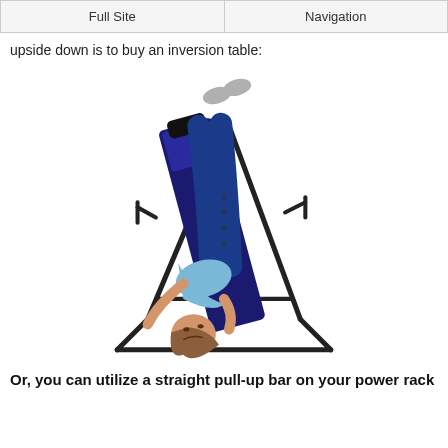Full Site | Navigation
upside down is to buy an inversion table:
[Figure (photo): A woman lying on an inversion table tilted at an angle with her head pointing downward and feet secured at the top. She is wearing blue pants and a light blue top. The inversion table has a black metal frame with handles on the sides.]
Or, you can utilize a straight pull-up bar on your power rack